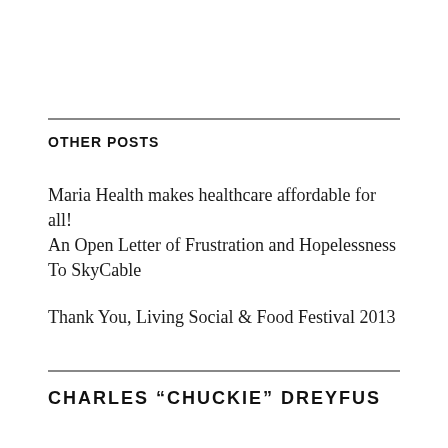OTHER POSTS
Maria Health makes healthcare affordable for all!
An Open Letter of Frustration and Hopelessness To SkyCable
Thank You, Living Social & Food Festival 2013
CHARLES “CHUCKIE” DREYFUS